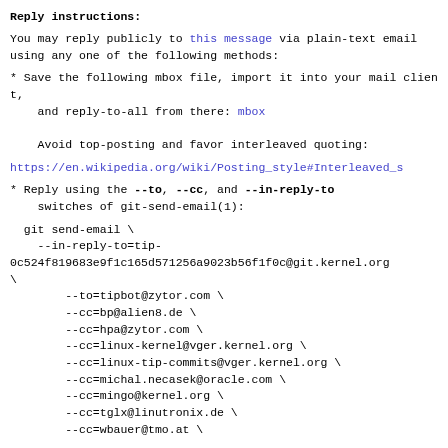Reply instructions:
You may reply publicly to this message via plain-text email
using any one of the following methods:
* Save the following mbox file, import it into your mail client,
    and reply-to-all from there: mbox

    Avoid top-posting and favor interleaved quoting:
https://en.wikipedia.org/wiki/Posting_style#Interleaved_s
* Reply using the --to, --cc, and --in-reply-to
    switches of git-send-email(1):
git send-email \
    --in-reply-to=tip-0c524f819683e9f1c165d571256a9023b56f1f0c@git.kernel.org \
    --to=tipbot@zytor.com \
    --cc=bp@alien8.de \
    --cc=hpa@zytor.com \
    --cc=linux-kernel@vger.kernel.org \
    --cc=linux-tip-commits@vger.kernel.org \
    --cc=michal.necasek@oracle.com \
    --cc=mingo@kernel.org \
    --cc=tglx@linutronix.de \
    --cc=wbauer@tmo.at \